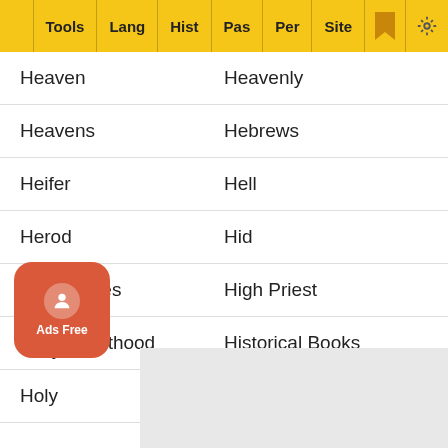Tools | Lang | Hist | Pas | Per | Site
Heaven | Heavenly
Heavens | Hebrews
Heifer | Hell
Herod | Hid
High Places | High Priest
High Priesthood | Historical Books
Holy | Holy Spirit
Honey | Hope
Ho...